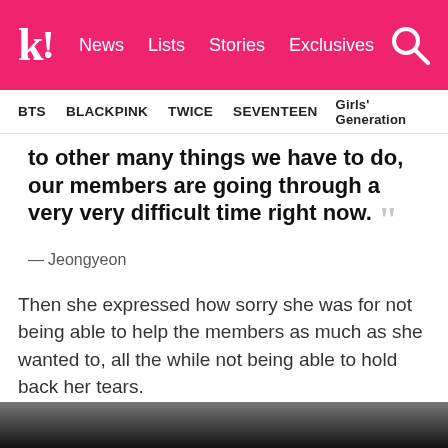k! News | Lists | Stories | Exclusives
BTS | BLACKPINK | TWICE | SEVENTEEN | Girls' Generation
to other many things we have to do, our members are going through a very very difficult time right now.
— Jeongyeon
Then she expressed how sorry she was for not being able to help the members as much as she wanted to, all the while not being able to hold back her tears.
[Figure (photo): Dark photo strip at bottom of page]